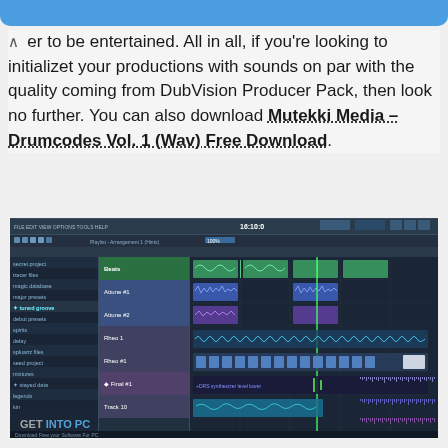er to be entertained. All in all, if you're looking to initializet your productions with sounds on par with the quality coming from DubVision Producer Pack, then look no further. You can also download Mutekki Media – Drumcodes Vol. 1 (Wav) Free Download.
[Figure (screenshot): Screenshot of FL Studio DAW showing a playlist/arrangement view with multiple tracks, colored audio clips and MIDI patterns, sidebar with project files, and 'GET INTO PC' watermark at bottom left.]